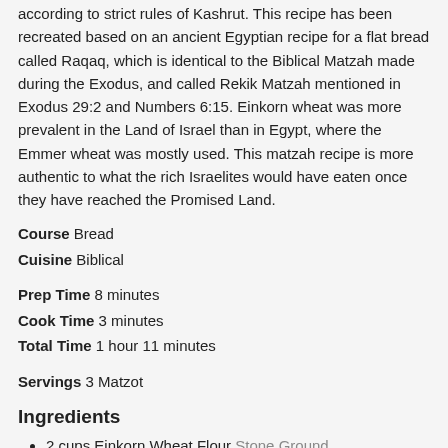according to strict rules of Kashrut. This recipe has been recreated based on an ancient Egyptian recipe for a flat bread called Raqaq, which is identical to the Biblical Matzah made during the Exodus, and called Rekik Matzah mentioned in Exodus 29:2 and Numbers 6:15. Einkorn wheat was more prevalent in the Land of Israel than in Egypt, where the Emmer wheat was mostly used. This matzah recipe is more authentic to what the rich Israelites would have eaten once they have reached the Promised Land.
Course  Bread
Cuisine  Biblical
Prep Time  8 minutes
Cook Time  3 minutes
Total Time  1 hour 11 minutes
Servings  3 Matzot
Ingredients
2 cups Einkorn Wheat Flour Stone Ground
1/2 cup Water Room Temperature